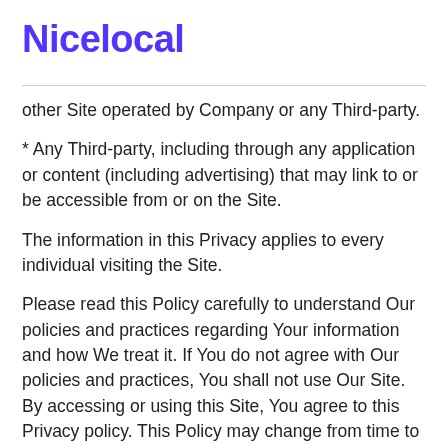Nicelocal
other Site operated by Company or any Third-party.
* Any Third-party, including through any application or content (including advertising) that may link to or be accessible from or on the Site.
The information in this Privacy applies to every individual visiting the Site.
Please read this Policy carefully to understand Our policies and practices regarding Your information and how We treat it. If You do not agree with Our policies and practices, You shall not use Our Site. By accessing or using this Site, You agree to this Privacy policy. This Policy may change from time to time, and it is Your responsibility to check these changes published on the Site.